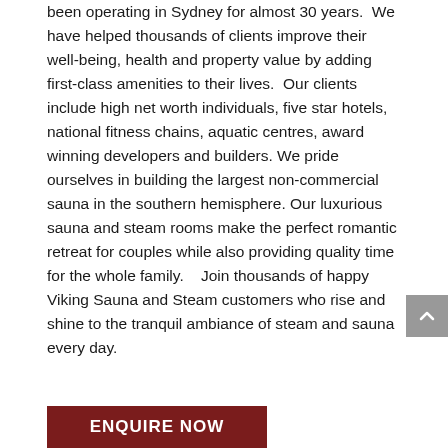been operating in Sydney for almost 30 years.  We have helped thousands of clients improve their well-being, health and property value by adding first-class amenities to their lives.  Our clients include high net worth individuals, five star hotels, national fitness chains, aquatic centres, award winning developers and builders.  We pride ourselves in building the largest non-commercial sauna in the southern hemisphere. Our luxurious sauna and steam rooms make the perfect romantic retreat for couples while also providing quality time for the whole family.    Join thousands of happy Viking Sauna and Steam customers who rise and shine to the tranquil ambiance of steam and sauna every day.
ENQUIRE NOW